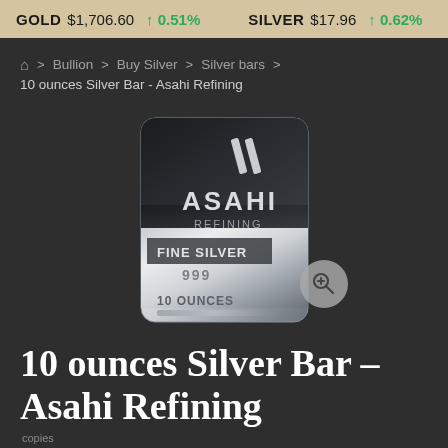GOLD $1,706.60 ↑ 0.51%   SILVER $17.96 ↑ 0.62%
🏠 > Bullion > Buy Silver > Silver bars > 10 ounces Silver Bar - Asahi Refining
[Figure (photo): 10 ounces Asahi Refining fine silver bar .999 product photo with zoom icon overlay]
10 ounces Silver Bar - Asahi Refining